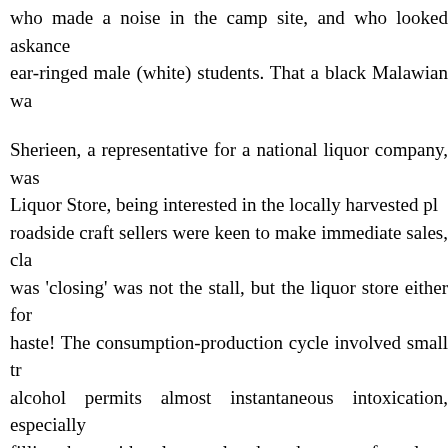who made a noise in the camp site, and who looked askance ear-ringed male (white) students. That a black Malawian wa the post-apartheid transition had forged ahead at least. Nelia kernel of truth – that is why Schuster's movies are so success
Sherieen, a representative for a national liquor company, was Liquor Store, being interested in the locally harvested pl roadside craft sellers were keen to make immediate sales, cla was 'closing' was not the stall, but the liquor store either for haste! The consumption-production cycle involved small tr alcohol permits almost instantaneous intoxication, especially filling them with colour sculpted sand patterns for sale to pa purchase yet more alcohol. When cash is harder to come b facility at the Witdraai tentepark (camp site) had been sto culprits. The result was that no more tourists were expecte Hukuntsi, Botswana, we learnt that shortly after supplying n town of Hukuntsi 40 kms away, would be awash with veniso